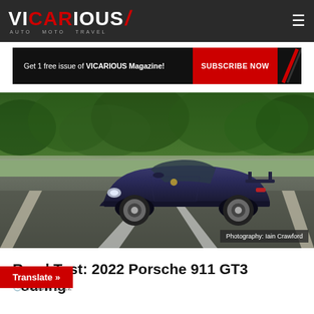VICARIOUS/ AUTO MOTO TRAVEL
[Figure (infographic): Black ad banner: 'Get 1 free issue of VICARIOUS Magazine!' with red SUBSCRIBE NOW button and red diagonal slash graphic]
[Figure (photo): A dark blue/purple Porsche 911 GT3 Touring driving on a highway, blurred green trees in background, road visible. Photography credit: Iain Crawford]
Photography: Iain Crawford
Road Test: 2022 Porsche 911 GT3 Touring
23 June 2022